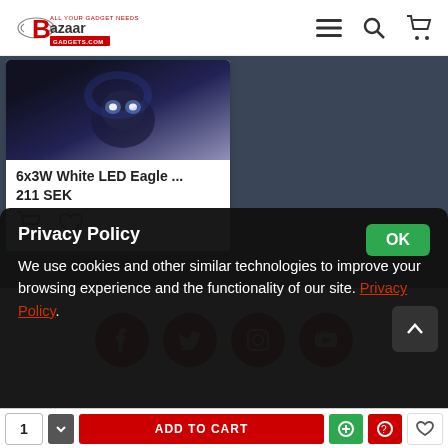Bazaar Gadgets
[Figure (screenshot): Product card showing 6x3W White LED Eagle ... for 211 SEK with cart and wishlist icons, overlaid on dark blue background]
[Figure (infographic): Social media icons: Facebook, Twitter, Instagram, YouTube — red circles with white logos]
Privacy Policy
We use cookies and other similar technologies to improve your browsing experience and the functionality of our site. Privacy Policy.
1 [down] ADD TO CART [icons]